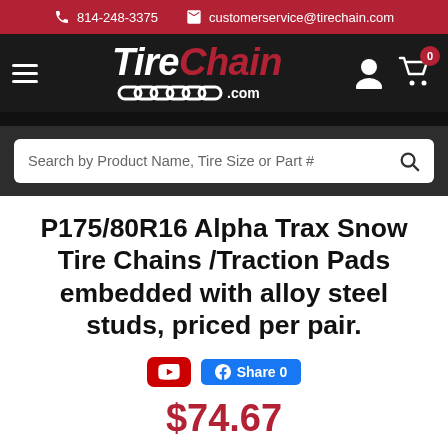814-248-3375  customerservice@tirechain.com
[Figure (logo): TireChain.com logo with hamburger menu, user icon, and cart icon with badge showing 0]
Search by Product Name, Tire Size or Part #
P175/80R16 Alpha Trax Snow Tire Chains /Traction Pads embedded with alloy steel studs, priced per pair.
$74.67